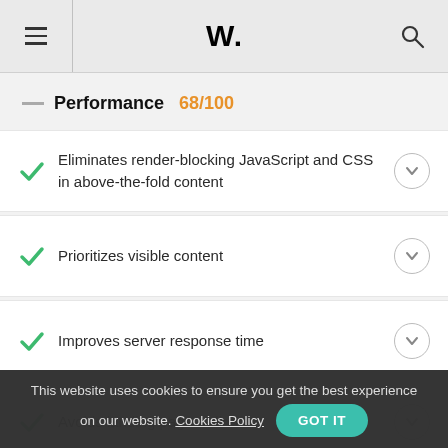W.
Performance 68/100
Eliminates render-blocking JavaScript and CSS in above-the-fold content
Prioritizes visible content
Improves server response time
Avoids landing page redirects
This website uses cookies to ensure you get the best experience on our website. Cookies Policy GOT IT